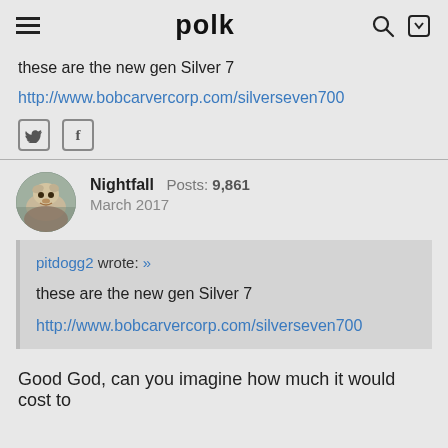polk
these are the new gen Silver 7
http://www.bobcarvercorp.com/silverseven700
Nightfall  Posts: 9,861  March 2017
pitdogg2 wrote: »

these are the new gen Silver 7

http://www.bobcarvercorp.com/silverseven700
Good God, can you imagine how much it would cost to